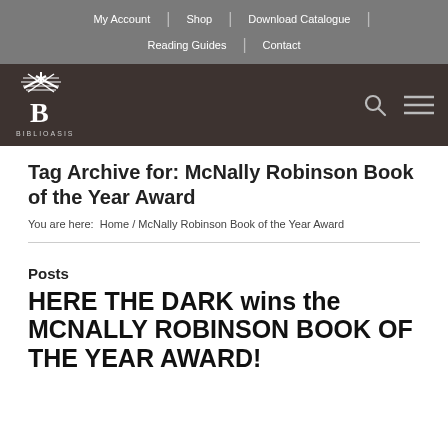My Account | Shop | Download Catalogue | Reading Guides | Contact
[Figure (logo): Biblioasis windmill and B logo in white on dark brown background, with search and menu icons]
Tag Archive for: McNally Robinson Book of the Year Award
You are here:  Home / McNally Robinson Book of the Year Award
Posts
HERE THE DARK wins the MCNALLY ROBINSON BOOK OF THE YEAR AWARD!